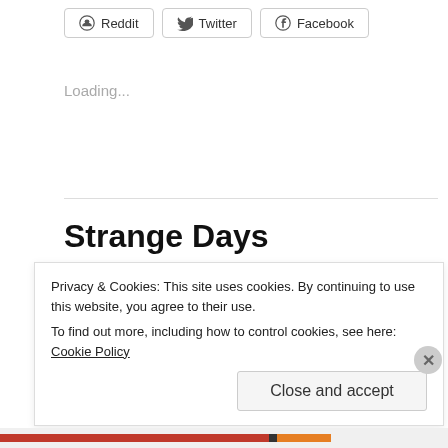Reddit  Twitter  Facebook
Loading...
Strange Days
MAY 6, 2010  /  3 COMMENTS
After four weeks of teeth-grindingly awful campaign news, today we have some bizarre happenings.
Privacy & Cookies: This site uses cookies. By continuing to use this website, you agree to their use. To find out more, including how to control cookies, see here: Cookie Policy
Close and accept